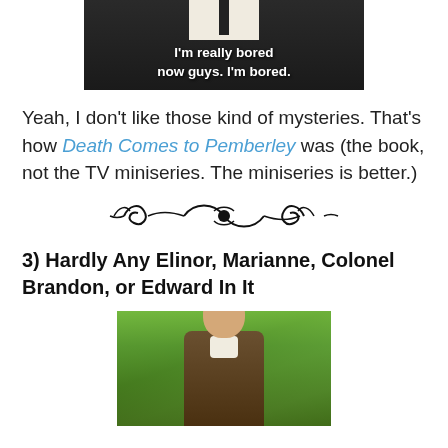[Figure (photo): Meme image of a man in a suit and tie with text overlay reading 'I'm really bored now guys. I'm bored.']
Yeah, I don't like those kind of mysteries. That's how Death Comes to Pemberley was (the book, not the TV miniseries. The miniseries is better.)
[Figure (illustration): Decorative ornamental divider flourish]
3) Hardly Any Elinor, Marianne, Colonel Brandon, or Edward In It
[Figure (photo): Photo of a young man with curly brown hair in period costume (brown coat, white cravat) outdoors with green trees in background]